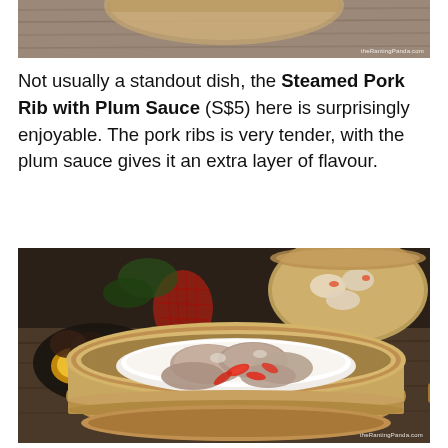[Figure (photo): Top portion of a dim sum bamboo steamer basket on a wooden table, partially cropped. Watermark: theRantingPanda.com]
Not usually a standout dish, the Steamed Pork Rib with Plum Sauce (S$5) here is surprisingly enjoyable. The pork ribs is very tender, with the plum sauce gives it an extra layer of flavour.
[Figure (photo): Steamed pork ribs in a white bowl placed inside a bamboo steamer basket. Red chili slices on top of the pork ribs. In the background: egg tarts on a dark plate, red mesh bag, and another bamboo steamer with dim sum dumplings. Watermark: theRantingPanda.com]